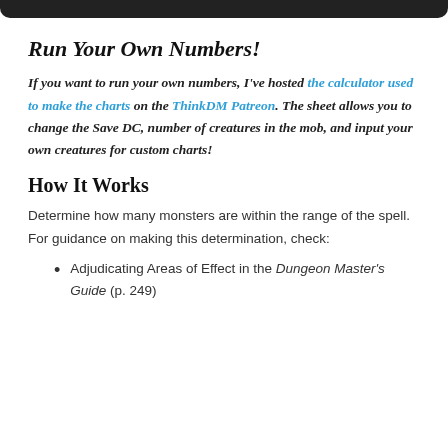Run Your Own Numbers!
If you want to run your own numbers, I've hosted the calculator used to make the charts on the ThinkDM Patreon. The sheet allows you to change the Save DC, number of creatures in the mob, and input your own creatures for custom charts!
How It Works
Determine how many monsters are within the range of the spell. For guidance on making this determination, check:
Adjudicating Areas of Effect in the Dungeon Master's Guide (p. 249)